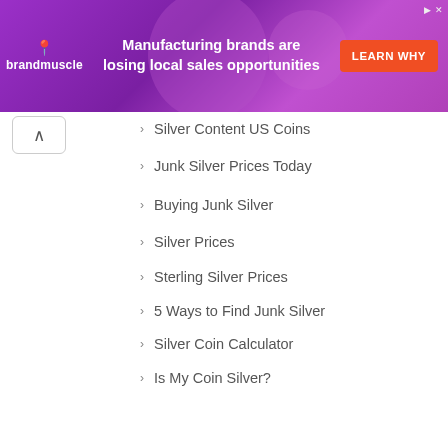[Figure (other): Brandmuscle advertisement banner: 'Manufacturing brands are losing local sales opportunities' with LEARN WHY button]
Silver Content US Coins
Junk Silver Prices Today
Buying Junk Silver
Silver Prices
Sterling Silver Prices
5 Ways to Find Junk Silver
Silver Coin Calculator
Is My Coin Silver?
Dollars
Morgan Silver Dollars
Peace Dollars
Seated Liberty Dollars
Eisenhower Dollars
Susan B Anthony Dollars